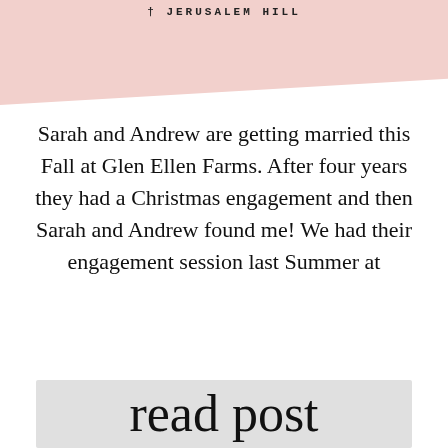† JERUSALEM HILL
Sarah and Andrew are getting married this Fall at Glen Ellen Farms. After four years they had a Christmas engagement and then Sarah and Andrew found me! We had their engagement session last Summer at
[Figure (illustration): Handwritten cursive script reading 'read post' in black ink over a light gray rectangular button area]